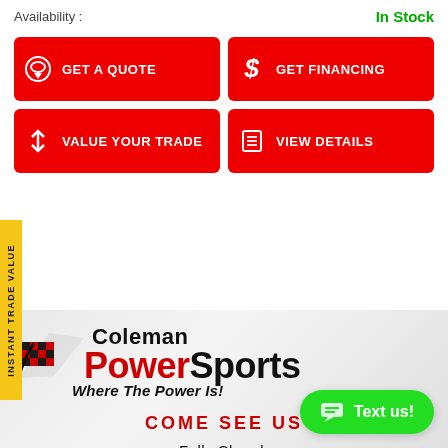Availability :
In Stock
[Figure (screenshot): Four red call-to-action buttons: GET A QUOTE, GET FINANCING, VALUE YOUR TRADE, VIEW DETAILS]
[Figure (logo): Coleman PowerSports logo with checkered flag graphic and tagline 'Where The Power Is!']
COME SEE US
Falls Church
(703) 237-3400
[Figure (other): Green 'Text us!' chat button in bottom right corner]